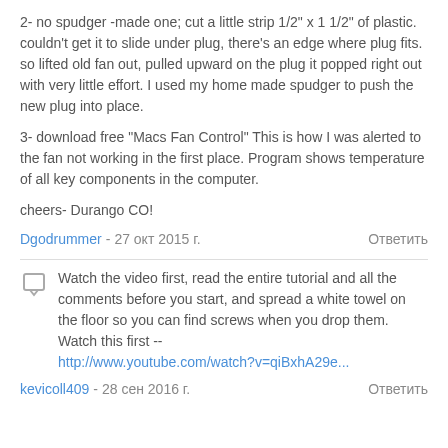2- no spudger -made one; cut a little strip 1/2" x 1 1/2" of plastic. couldn't get it to slide under plug, there's an edge where plug fits. so lifted old fan out, pulled upward on the plug it popped right out with very little effort. I used my home made spudger to push the new plug into place.
3- download free "Macs Fan Control" This is how I was alerted to the fan not working in the first place. Program shows temperature of all key components in the computer.
cheers- Durango CO!
Dgodrummer - 27 окт 2015 г.   Ответить
Watch the video first, read the entire tutorial and all the comments before you start, and spread a white towel on the floor so you can find screws when you drop them. Watch this first -- http://www.youtube.com/watch?v=qiBxhA29e...
kevicoll409 - 28 сен 2016 г.   Ответить